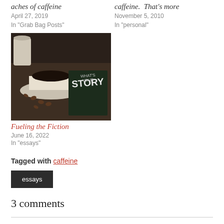aches of caffeine
April 27, 2019
In "Grab Bag Posts"
caffeine.  That's more
November 5, 2010
In "personal"
[Figure (photo): Overhead view of a coffee cup with saucer and coffee beans next to a dark chalkboard sign reading WHAT'S YOUR STORY]
Fueling the Fiction
June 16, 2022
In "essays"
Tagged with caffeine
essays
3 comments